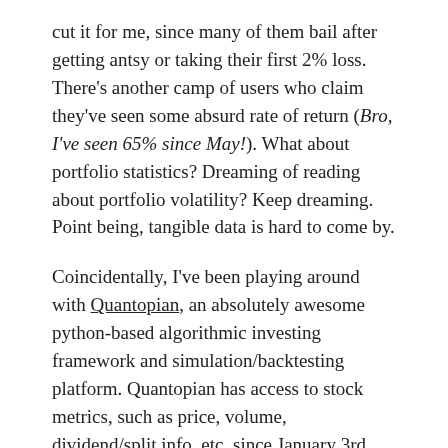cut it for me, since many of them bail after getting antsy or taking their first 2% loss. There's another camp of users who claim they've seen some absurd rate of return (Bro, I've seen 65% since May!). What about portfolio statistics? Dreaming of reading about portfolio volatility? Keep dreaming. Point being, tangible data is hard to come by.
Coincidentally, I've been playing around with Quantopian, an absolutely awesome python-based algorithmic investing framework and simulation/backtesting platform. Quantopian has access to stock metrics, such as price, volume, dividend/split info, etc, since January 3rd, 2002; Quantopian allows users to backtest stocks and trading algorithms using this data, in order to examine performance of various trading strategies. Somewhere along the line, I had the thought: "Why not just create each of the Acorns portfolios and backtest